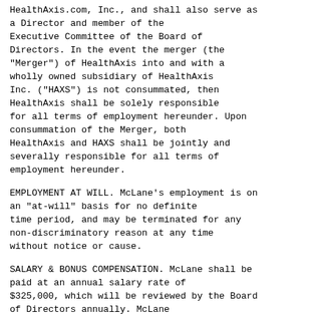HealthAxis.com, Inc., and shall also serve as a Director and member of the Executive Committee of the Board of Directors. In the event the merger (the "Merger") of HealthAxis into and with a wholly owned subsidiary of HealthAxis Inc. ("HAXS") is not consummated, then HealthAxis shall be solely responsible for all terms of employment hereunder. Upon consummation of the Merger, both HealthAxis and HAXS shall be jointly and severally responsible for all terms of employment hereunder.
EMPLOYMENT AT WILL. McLane's employment is on an "at-will" basis for no definite time period, and may be terminated for any non-discriminatory reason at any time without notice or cause.
SALARY & BONUS COMPENSATION. McLane shall be paid at an annual salary rate of $325,000, which will be reviewed by the Board of Directors annually. McLane shall also be eligible to participate in any